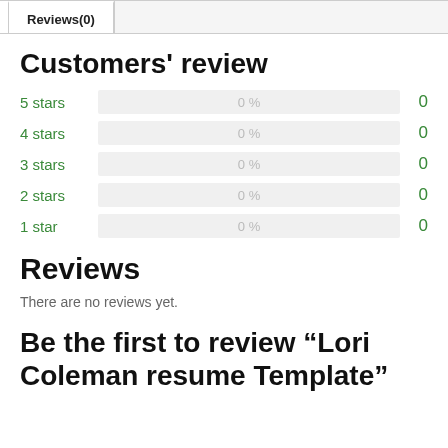Reviews(0)
Customers' review
| Rating | Percent | Count |
| --- | --- | --- |
| 5 stars | 0 % | 0 |
| 4 stars | 0 % | 0 |
| 3 stars | 0 % | 0 |
| 2 stars | 0 % | 0 |
| 1 star | 0 % | 0 |
Reviews
There are no reviews yet.
Be the first to review “Lori Coleman resume Template”